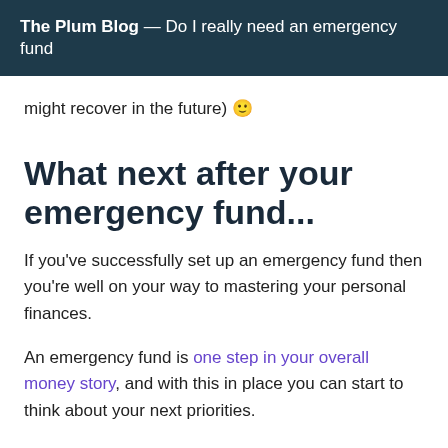The Plum Blog — Do I really need an emergency fund
might recover in the future) 🙂
What next after your emergency fund...
If you've successfully set up an emergency fund then you're well on your way to mastering your personal finances.
An emergency fund is one step in your overall money story, and with this in place you can start to think about your next priorities.